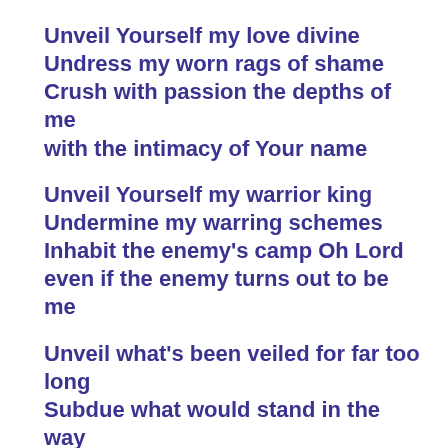Unveil Yourself my love divine
Undress my worn rags of shame
Crush with passion the depths of me
with the intimacy of Your name
Unveil Yourself my warrior king
Undermine my warring schemes
Inhabit the enemy's camp Oh Lord
even if the enemy turns out to be me
Unveil what's been veiled for far too long
Subdue what would stand in the way
Pervade every ounce of my soul my Christ
with the glory of every word You say
You are the Word made flesh Lord
The Father has spoken in Christ
I am a tablet of flesh God
Write Jesus all over my life